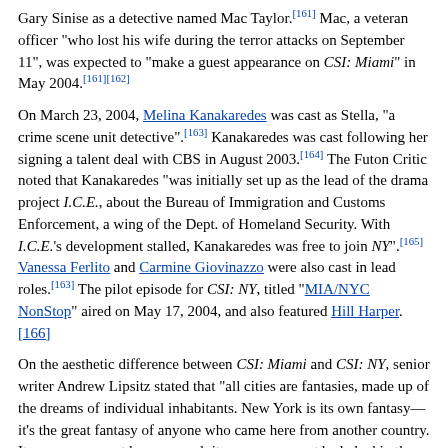Gary Sinise as a detective named Mac Taylor.[161] Mac, a veteran officer "who lost his wife during the terror attacks on September 11", was expected to "make a guest appearance on CSI: Miami" in May 2004.[161][162]
On March 23, 2004, Melina Kanakaredes was cast as Stella, "a crime scene unit detective".[163] Kanakaredes was cast following her signing a talent deal with CBS in August 2003.[164] The Futon Critic noted that Kanakaredes "was initially set up as the lead of the drama project I.C.E., about the Bureau of Immigration and Customs Enforcement, a wing of the Dept. of Homeland Security. With I.C.E.'s development stalled, Kanakaredes was free to join NY".[165] Vanessa Ferlito and Carmine Giovinazzo were also cast in lead roles.[163] The pilot episode for CSI: NY, titled "MIA/NYC NonStop" aired on May 17, 2004, and also featured Hill Harper.[166]
On the aesthetic difference between CSI: Miami and CSI: NY, senior writer Andrew Lipsitz stated that "all cities are fantasies, made up of the dreams of individual inhabitants. New York is its own fantasy—it's the great fantasy of anyone who came here from another country. It may or may not be more real, it may or may not be baked in the sun, but it's an amalgam of everyone's dreams."[167]